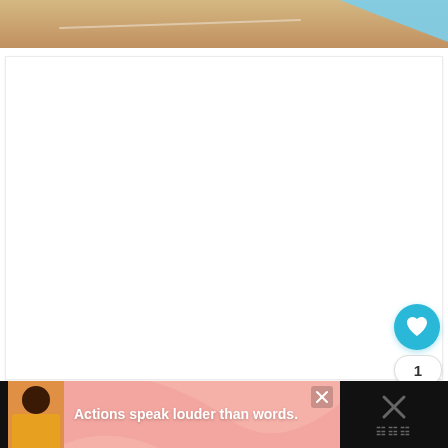[Figure (photo): Top portion of a photo showing a wooden floor surface with a light blue paper or card object in the upper right corner and a faint white curved line on the floor]
[Figure (screenshot): White content area / article body placeholder (blank white box with light border)]
[Figure (infographic): Floating action buttons on right side: a blue circle with a heart icon, a count badge showing '1', and a share/forward button]
[Figure (screenshot): Advertisement banner at bottom: pink background with a person illustration, text 'Actions speak louder than words.', a close X button, and a dark right panel with an X and brand icon]